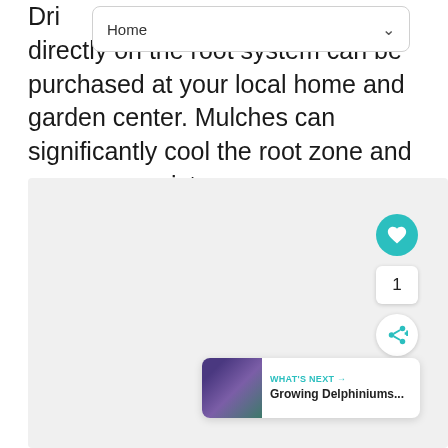Home
Drip systems that deliver water directly on the root system can be purchased at your local home and garden center. Mulches can significantly cool the root zone and conserve moisture.
[Figure (photo): Large light gray placeholder image area representing a photograph, with UI controls overlaid: a teal heart/favorite button showing count of 1, a share button, and a 'What's Next' card showing 'Growing Delphiniums...' with a thumbnail.]